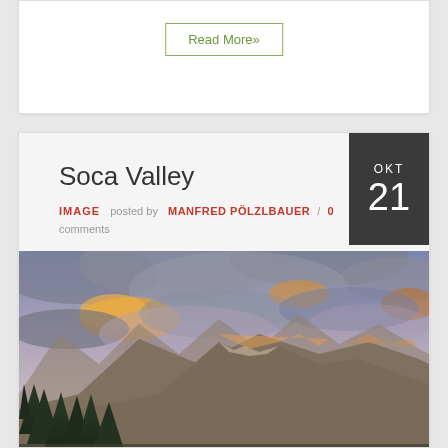Read More»
Soca Valley
IMAGE  posted by  MANFRED PÖLZLBAUER / 0 comments
OKT 21
[Figure (photo): Mountain landscape at sunset with dramatic pink and orange clouds over peaks, pine trees in foreground, Soca Valley alpine scenery]